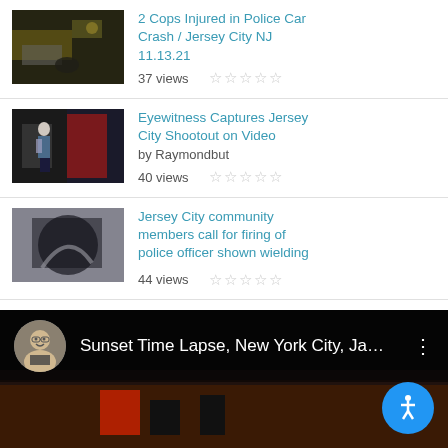[Figure (screenshot): Video thumbnail: police car crash scene at night, Jersey City NJ]
2 Cops Injured in Police Car Crash / Jersey City NJ
11.13.21
37 views ☆☆☆☆☆
[Figure (screenshot): Video thumbnail: person walking near parked cars, street scene]
Eyewitness Captures Jersey City Shootout on Video
by Raymondbut
40 views ☆☆☆☆☆
[Figure (screenshot): Video thumbnail: blurry close-up of police officer altercation]
Jersey City community members call for firing of police officer shown wielding
44 views ☆☆☆☆☆
[Figure (screenshot): Video player banner: Sunset Time Lapse, New York City, Ja... with user avatar and accessibility button]